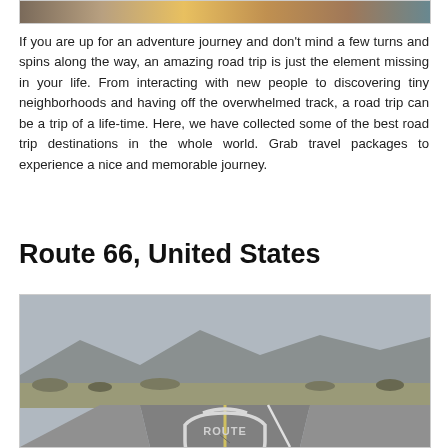[Figure (photo): Top strip showing partial photo of people on a road trip adventure]
If you are up for an adventure journey and don't mind a few turns and spins along the way, an amazing road trip is just the element missing in your life. From interacting with new people to discovering tiny neighborhoods and having off the overwhelmed track, a road trip can be a trip of a life-time. Here, we have collected some of the best road trip destinations in the whole world. Grab travel packages to experience a nice and memorable journey.
Route 66, United States
[Figure (photo): Photo of Route 66 road with the Route 66 shield logo painted on the asphalt, desert landscape in background]